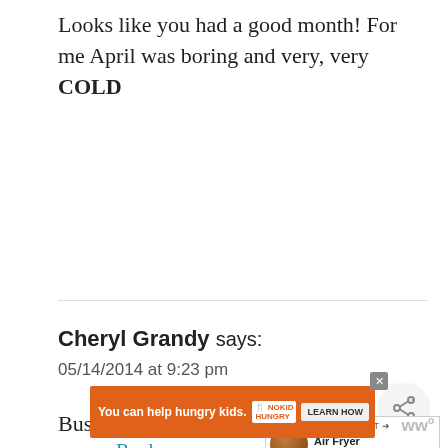Looks like you had a good month! For me April was boring and very, very COLD
Reply
Cheryl Grandy says:
05/14/2014 at 9:23 pm
Busy month! Congratulations to Miss Isabelle's cheer team – and to both Katie and Miss Isabelle for not being afraid to
[Figure (screenshot): Share button (circular icon with share symbol)]
[Figure (screenshot): WHAT'S NEXT panel showing Air Fryer Chicken Bites with thumbnail]
[Figure (screenshot): Orange ad banner: You can help hungry kids. No Kid Hungry. Learn How. With close X button.]